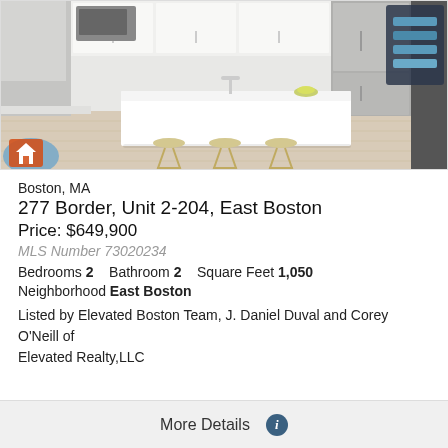[Figure (photo): Interior photo of a modern kitchen with white cabinets, stainless appliances, a large white kitchen island, and three gold/brass bar stools. A home icon button is visible in the bottom left of the photo, and a navigation overlay is in the top right.]
Boston, MA
277 Border, Unit 2-204, East Boston
Price: $649,900
MLS Number 73020234
Bedrooms 2    Bathroom 2    Square Feet 1,050
Neighborhood East Boston
Listed by Elevated Boston Team, J. Daniel Duval and Corey O'Neill of Elevated Realty,LLC
More Details